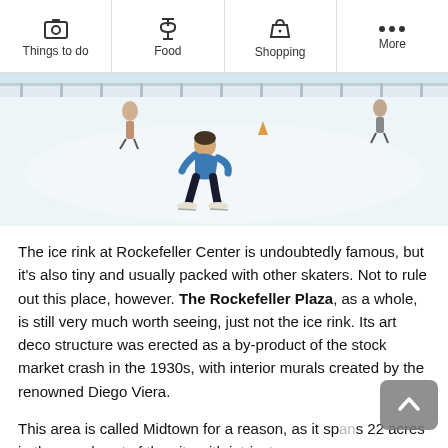Things to do | Food | Shopping | More
[Figure (photo): Ice rink at Rockefeller Center with skaters on white ice surface, one skater in foreground in blue top bending forward, others in background]
The ice rink at Rockefeller Center is undoubtedly famous, but it's also tiny and usually packed with other skaters. Not to rule out this place, however. The Rockefeller Plaza, as a whole, is still very much worth seeing, just not the ice rink. Its art deco structure was erected as a by-product of the stock market crash in the 1930s, with interior murals created by the renowned Diego Viera.
This area is called Midtown for a reason, as it spans 22 acres in the very heart of the city with intricate